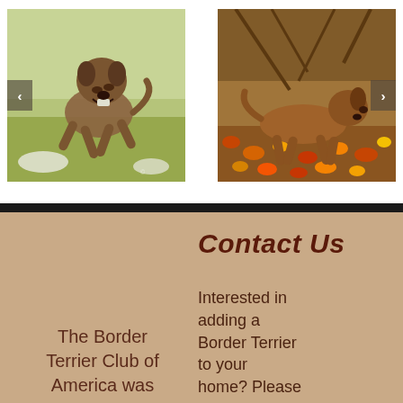[Figure (photo): A Border Terrier dog running/leaping towards the camera over a grass field, with a carousel navigation left arrow button visible]
[Figure (photo): A Border Terrier dog trotting through autumn leaves in a wooded area, with a carousel navigation right arrow button visible]
The Border Terrier Club of America was
Contact Us
Interested in adding a Border Terrier to your home? Please